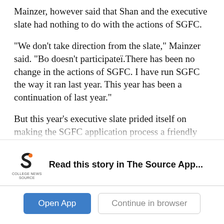Mainzer, however said that Shan and the executive slate had nothing to do with the actions of SGFC.
"We don't take direction from the slate," Mainzer said. "Bo doesn't participateï.There has been no change in the actions of SGFC. I have run SGFC the way it ran last year. This year has been a continuation of last year."
But this year's executive slate prided itself on making the SGFC application process a friendly and easy one. In interviews for the position of SGFC chair that the executive slate appoints, Shan made it very clear what he wanted as far as "generosity of funds." The chair
[Figure (logo): College News Source logo - stylized 'S' shape in dark with orange accent, with text 'COLLEGE NEWS SOURCE' below]
Read this story in The Source App...
Open App
Continue in browser